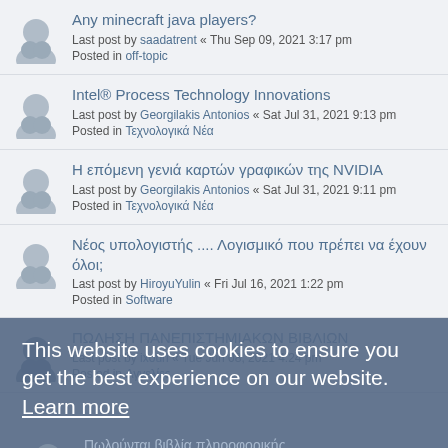Any minecraft java players? Last post by saadatrent « Thu Sep 09, 2021 3:17 pm Posted in off-topic
Intel® Process Technology Innovations Last post by Georgilakis Antonios « Sat Jul 31, 2021 9:13 pm Posted in Τεχνολογικά Νέα
Η επόμενη γενιά καρτών γραφικών της NVIDIA Last post by Georgilakis Antonios « Sat Jul 31, 2021 9:11 pm Posted in Τεχνολογικά Νέα
Νέος υπολογιστής .... Λογισμικό που πρέπει να έχουν όλοι; Last post by HiroyuYulin « Fri Jul 16, 2021 1:22 pm Posted in Software
ΠΩΛΗΣΗ ΠΑΝΕΠΙΣΤΗΜΙΑΚΩΝ ΒΙΒΛΙΩΝ Last post by ixouri « Tue Jun 08, 2021 4:24 pm Posted in Αγγελίες
Πωλούνται βιβλία πληροφορικής Last post by mar-dim « Sun May 30, 2021 1:53 pm Posted in Αγγελίες
Λειτουργικά Συστήματα Last post by chrispapageorge « Tue Mar 23, 2021 12:28 am
This website uses cookies to ensure you get the best experience on our website. Learn more Got it!